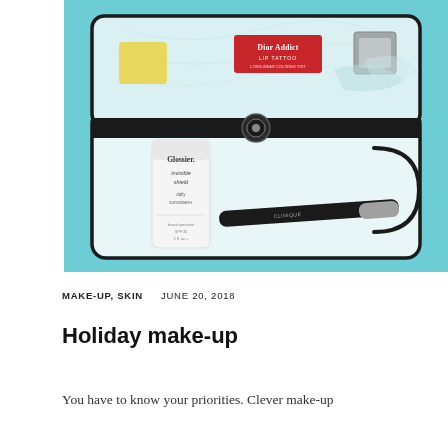[Figure (photo): Overhead photo of an open clear/transparent black-trimmed makeup travel pouch on a teal background, containing Glossier Invisible Shield sunscreen bottle, Dior Addict Lip Tattoo product in red packaging, a black mascara/eyeliner wand, and other cosmetic items.]
MAKE-UP, SKIN   JUNE 20, 2018
Holiday make-up
You have to know your priorities. Clever make-up